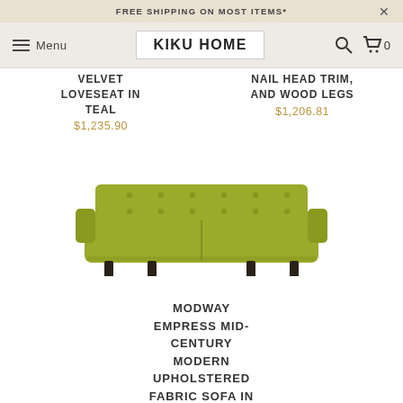FREE SHIPPING ON MOST ITEMS*
KIKU HOME | Menu
VELVET LOVESEAT IN TEAL
$1,235.90
NAIL HEAD TRIM, AND WOOD LEGS
$1,206.81
[Figure (photo): Olive/yellow-green mid-century modern upholstered fabric sofa with tufted back and dark wooden legs]
MODWAY EMPRESS MID-CENTURY MODERN UPHOLSTERED FABRIC SOFA IN WHEATGRASS